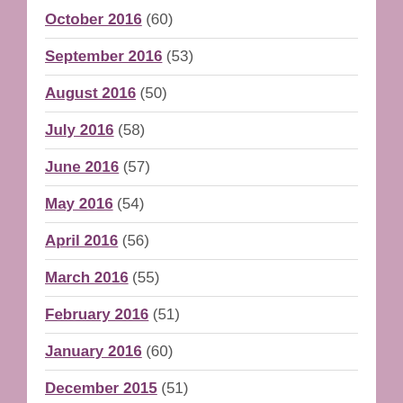October 2016 (60)
September 2016 (53)
August 2016 (50)
July 2016 (58)
June 2016 (57)
May 2016 (54)
April 2016 (56)
March 2016 (55)
February 2016 (51)
January 2016 (60)
December 2015 (51)